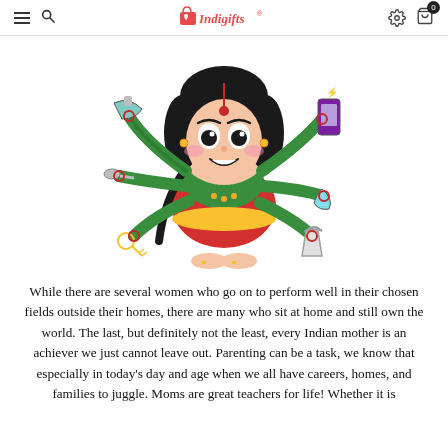Indigifts
[Figure (illustration): Cartoon illustration of an Indian woman in a red and green saree with multiple arms (like goddess Durga), each holding different household items: an iron, a spoon/ladle, keys, a phone, a bucket, and a cloth — representing a multitasking Indian mother.]
While there are several women who go on to perform well in their chosen fields outside their homes, there are many who sit at home and still own the world. The last, but definitely not the least, every Indian mother is an achiever we just cannot leave out. Parenting can be a task, we know that especially in today's day and age when we all have careers, homes, and families to juggle. Moms are great teachers for life! Whether it is